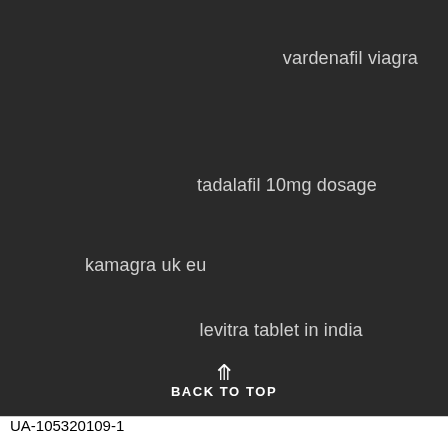vardenafil viagra
tadalafil 10mg dosage
kamagra uk eu
levitra tablet in india
BACK TO TOP
UA-105320109-1